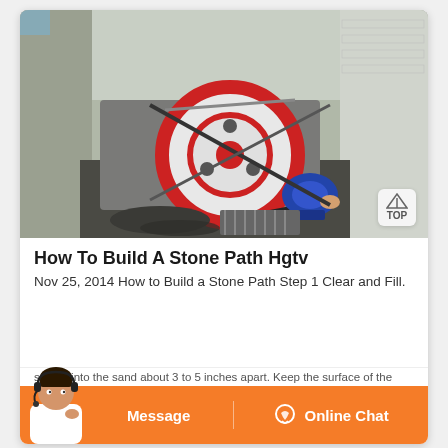[Figure (photo): Industrial stone crusher machine with large red flywheel, situated in a concrete pit. A blue motor is visible on the right side. Overhead view of the machinery with brick walls on the sides.]
How To Build A Stone Path Hgtv
Nov 25, 2014 How to Build a Stone Path Step 1 Clear and Fill.
stones into the sand about 3 to 5 inches apart. Keep the surface of the
[Figure (infographic): Orange chat bar at the bottom with a customer service avatar on the left. Two buttons: 'Message' on the left and 'Online Chat' with a chat icon on the right.]